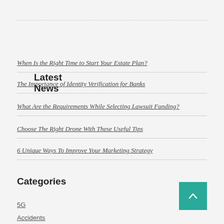Latest News
When Is the Right Time to Start Your Estate Plan?
The Importance of Identity Verification for Banks
What Are the Requirements While Selecting Lawsuit Funding?
Choose The Right Drone With These Useful Tips
6 Unique Ways To Improve Your Marketing Strategy
Categories
5G
Accidents